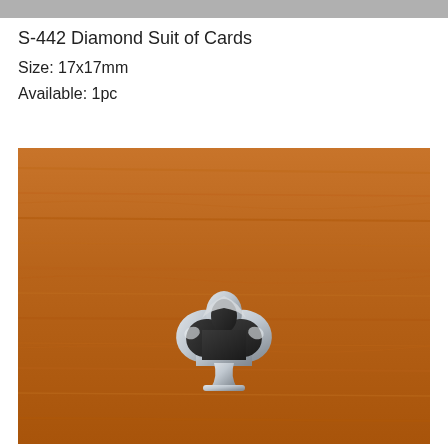S-442 Diamond Suit of Cards
Size: 17x17mm
Available: 1pc
[Figure (photo): A metallic spade card suit charm/emblem photographed on a warm brown wooden surface. The piece has a silver/chrome finish with a dark center, shaped like a classic spade symbol with a pointed bottom stem.]